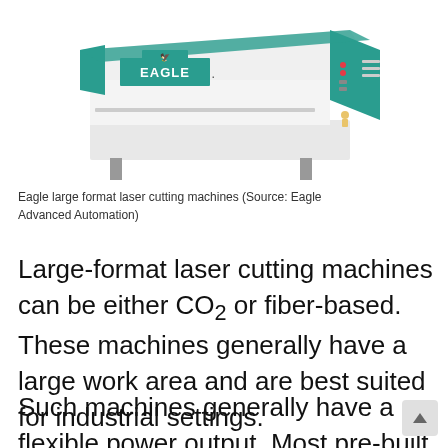[Figure (photo): Eagle large format laser cutting machine — a large white and teal industrial machine with the EAGLE logo visible on the front panel, shown from a front-right perspective angle.]
Eagle large format laser cutting machines (Source: Eagle Advanced Automation)
Large-format laser cutting machines can be either CO₂ or fiber-based. These machines generally have a large work area and are best suited for industrial settings.
Such machines generally have a flexible power output. Most pre-built machines have a power